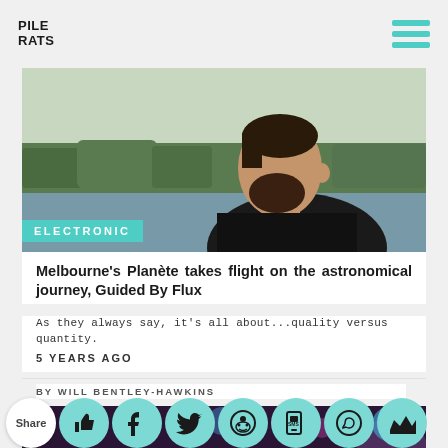PILE RATS
[Figure (photo): Side profile of a bearded man with trees and a lake/river in the background]
ELECTRONIC
Melbourne's Planète takes flight on the astronomical journey, Guided By Flux
As they always say, it's all about...quality versus quantity.
5 YEARS AGO
BY WILL BENTLEY-HAWKINS
[Figure (photo): Concert crowd scene with colorful lighting, blue-haired person visible]
Share